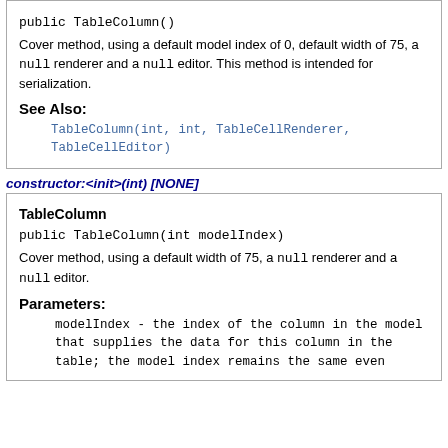public TableColumn()
Cover method, using a default model index of 0, default width of 75, a null renderer and a null editor. This method is intended for serialization.
See Also:
TableColumn(int, int, TableCellRenderer, TableCellEditor)
constructor:<init>(int) [NONE]
TableColumn
public TableColumn(int modelIndex)
Cover method, using a default width of 75, a null renderer and a null editor.
Parameters:
modelIndex - the index of the column in the model that supplies the data for this column in the table; the model index remains the same even